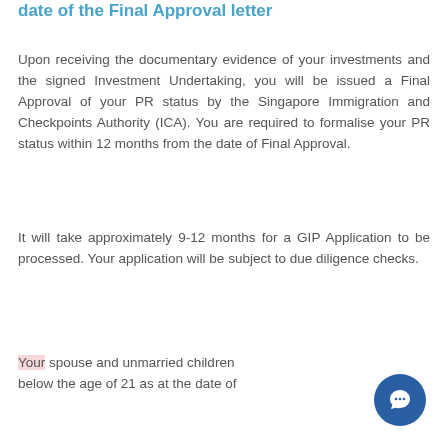date of the Final Approval letter
Upon receiving the documentary evidence of your investments and the signed Investment Undertaking, you will be issued a Final Approval of your PR status by the Singapore Immigration and Checkpoints Authority (ICA). You are required to formalise your PR status within 12 months from the date of Final Approval.
It will take approximately 9-12 months for a GIP Application to be processed. Your application will be subject to due diligence checks.
Your spouse and unmarried children below the age of 21 as at the date of